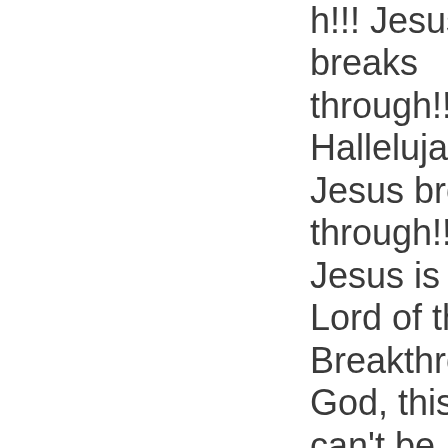h!!! Jesus breaks through!!! Hallelujah!!! Jesus broke through!!!! Jesus is the Lord of the Breakthrough!!!! God, this can't be stopped!